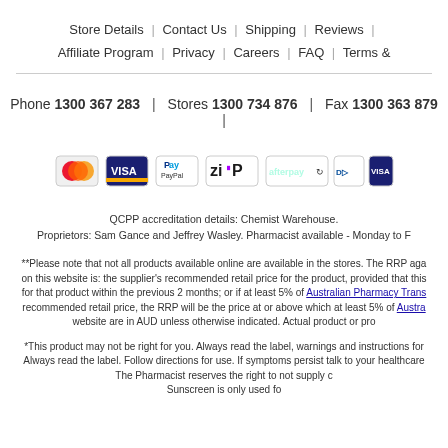Store Details | Contact Us | Shipping | Reviews | Affiliate Program | Privacy | Careers | FAQ | Terms &
Phone 1300 367 283 | Stores 1300 734 876 | Fax 1300 363 879 |
[Figure (other): Payment method icons: Mastercard, Visa, PayPal, Zip, Afterpay, Diners Club, Visa Checkout]
QCPP accreditation details: Chemist Warehouse. Proprietors: Sam Gance and Jeffrey Wasley. Pharmacist available - Monday to F
**Please note that not all products available online are available in the stores. The RRP aga on this website is: the supplier's recommended retail price for the product, provided that this for that product within the previous 2 months; or if at least 5% of Australian Pharmacy Trans recommended retail price, the RRP will be the price at or above which at least 5% of Austra website are in AUD unless otherwise indicated. Actual product or pro
*This product may not be right for you. Always read the label, warnings and instructions for Always read the label. Follow directions for use. If symptoms persist talk to your healthcare The Pharmacist reserves the right to not supply c Sunscreen is only used fo